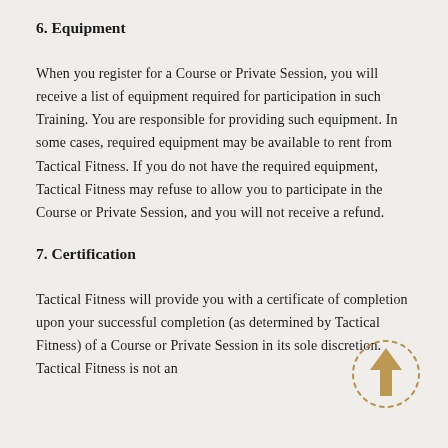6. Equipment
When you register for a Course or Private Session, you will receive a list of equipment required for participation in such Training. You are responsible for providing such equipment. In some cases, required equipment may be available to rent from Tactical Fitness. If you do not have the required equipment, Tactical Fitness may refuse to allow you to participate in the Course or Private Session, and you will not receive a refund.
7. Certification
Tactical Fitness will provide you with a certificate of completion upon your successful completion (as determined by Tactical Fitness) of a Course or Private Session in its sole discretion. Tactical Fitness is not an